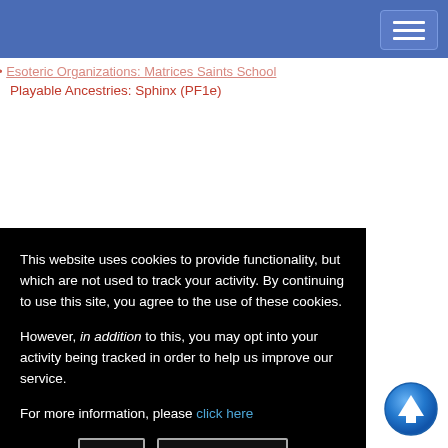Esoteric Organizations: Matrices Saints School
Playable Ancestries: Sphinx (PF1e)
This website uses cookies to provide functionality, but which are not used to track your activity. By continuing to use this site, you agree to the use of these cookies.

However, in addition to this, you may opt into your activity being tracked in order to help us improve our service.

For more information, please click here
OK | No, thank you